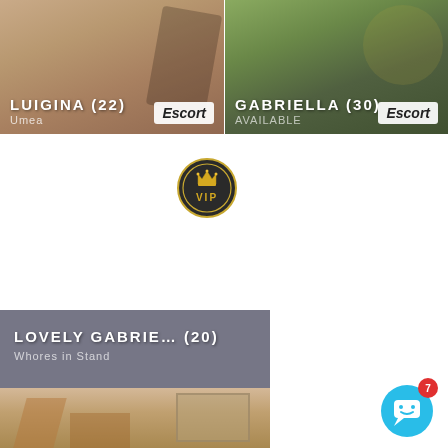[Figure (screenshot): Profile card for LUIGINA (22), location Umea, tagged as Escort]
[Figure (screenshot): Profile card for GABRIELLA (30), status AVAILABLE, tagged as Escort]
[Figure (logo): VIP circular badge with crown icon and gold lettering on dark background]
[Figure (screenshot): Profile card for LOVELY GABRIE... (20), Whores in Stand, with interior photo below]
[Figure (screenshot): Chat/messenger button with notification badge showing 7]